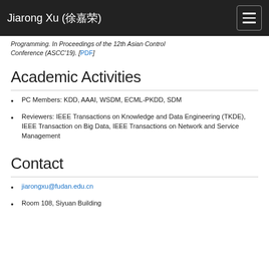Jiarong Xu (徐嘉荣)
Programming. In Proceedings of the 12th Asian Control Conference (ASCC'19). [PDF]
Academic Activities
PC Members: KDD, AAAI, WSDM, ECML-PKDD, SDM
Reviewers: IEEE Transactions on Knowledge and Data Engineering (TKDE), IEEE Transaction on Big Data, IEEE Transactions on Network and Service Management
Contact
jiarongxu@fudan.edu.cn
Room 108, Siyuan Building